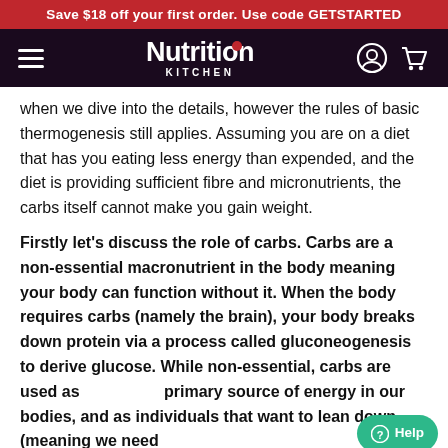Save $18 off your first order. Use code GETSTARTED
[Figure (logo): Nutrition Kitchen logo with hamburger menu, user icon and cart icon on dark purple background]
when we dive into the details, however the rules of basic thermogenesis still applies. Assuming you are on a diet that has you eating less energy than expended, and the diet is providing sufficient fibre and micronutrients, the carbs itself cannot make you gain weight.
Firstly let’s discuss the role of carbs. Carbs are a non-essential macronutrient in the body meaning your body can function without it. When the body requires carbs (namely the brain), your body breaks down protein via a process called gluconeogenesis to derive glucose. While non-essential, carbs are used as the primary source of energy in our bodies, and as individuals that want to lean down (meaning we need